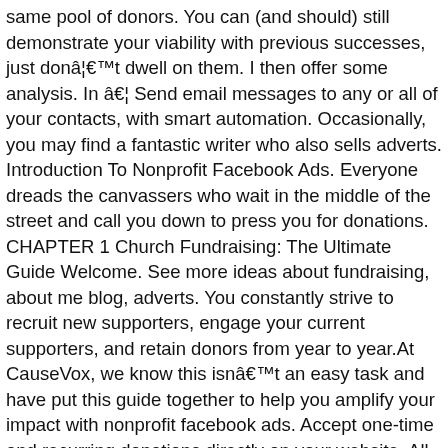same pool of donors. You can (and should) still demonstrate your viability with previous successes, just don't dwell on them. I then offer some analysis. In â¦ Send email messages to any or all of your contacts, with smart automation. Occasionally, you may find a fantastic writer who also sells adverts. Introduction To Nonprofit Facebook Ads. Everyone dreads the canvassers who wait in the middle of the street and call you down to press you for donations. CHAPTER 1 Church Fundraising: The Ultimate Guide Welcome. See more ideas about fundraising, about me blog, adverts. You constantly strive to recruit new supporters, engage your current supporters, and retain donors from year to year.At CauseVox, we know this isn't an easy task and have put this guide together to help you amplify your impact with nonprofit facebook ads. Accept one-time and recurring donations directly on your website. All rights reserved. Where they can go to make it happen. Fundraising Ideas for a Nonprofit Organization, Privacy Notice/Your California Privacy Rights. People get more excited by possibilities than they do about proven track records and will often overestimate future performance